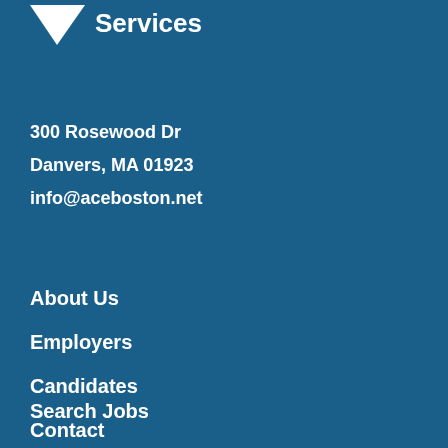[Figure (logo): ACE Services logo with white diamond/downward arrow shape and 'Services' text in white on blue background]
300 Rosewood Dr
Danvers, MA 01923
info@aceboston.net
About Us
Employers
Candidates
Contact
Search Jobs